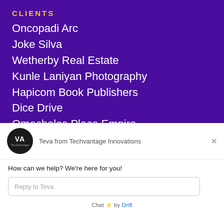CLIENTS
Oncopadi Arc
Joke Silva
Wetherby Real Estate
Kunle Laniyan Photography
Hapicom Book Publishers
Dice Drive
Omocholas Place Empire
[Figure (other): Chat widget from Techvantage Innovations (Drift chat), showing avatar with VA logo, agent name 'Teva from Techvantage Innovations', close button, greeting 'How can we help? We're here for you!', reply input field, and 'Chat by Drift' footer.]